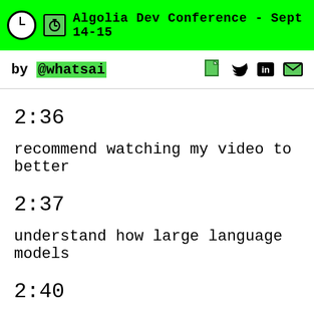Algolia Dev Conference - Sept 14-15
by @whatsai
2:36
recommend watching my video to better
2:37
understand how large language models
2:40
work gpd3 and opt cannot at least